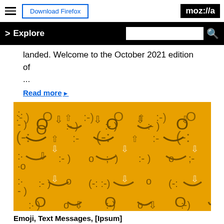Download Firefox | moz://a
> Explore [search box] [search icon]
landed. Welcome to the October 2021 edition of

...
Read more ▶
[Figure (illustration): Yellow/amber background pattern filled with text-based emoticons and emoji faces rendered in dark golden and white colors, repeating across the image in a tile pattern. Emoticons include :-) O ;-) :o and similar character combinations.]
Emoji, Text Messages, [Ipsum]